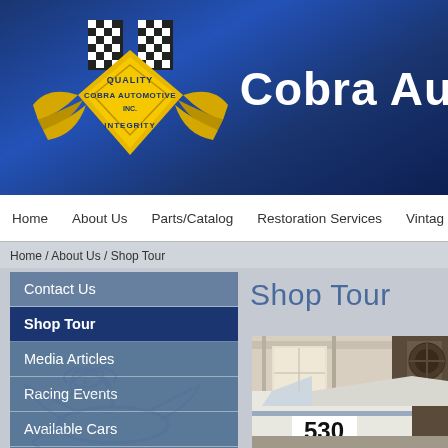[Figure (logo): Cobra Automotive Inc. logo with checkered flags, gold wings, and yellow diamond shape with text Quality, Integrity]
Cobra Au
Home
About Us
Parts/Catalog
Restoration Services
Vintage
Home / About Us / Shop Tour
Contact Us
Shop Tour
Media Articles
Racing Events
Available Cars
Line Card
Links
Shop Tour
[Figure (photo): Auto shop interior with vintage race car number 530 and open hood, garage setting]
[Figure (illustration): Cobra snake watermark illustration, light blue outline on gray background]